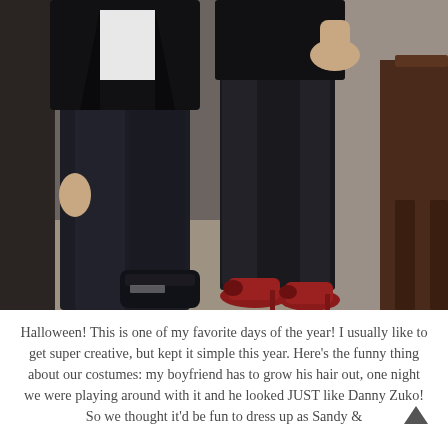[Figure (photo): Photo showing two people from roughly waist down. Person on the left wearing dark jeans, black Puma sneakers, and a leather jacket. Person on the right wearing shiny black leggings and red high heels. Indoor setting with carpet floor and wooden furniture visible.]
Halloween! This is one of my favorite days of the year! I usually like to get super creative, but kept it simple this year. Here's the funny thing about our costumes: my boyfriend has to grow his hair out, one night we were playing around with it and he looked JUST like Danny Zuko! So we thought it'd be fun to dress up as Sandy &